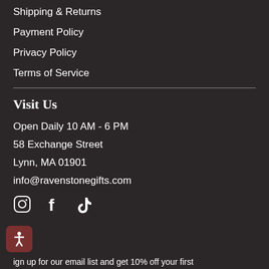Shipping & Returns
Payment Policy
Privacy Policy
Terms of Service
Visit Us
Open Daily 10 AM - 6 PM
58 Exchange Street
Lynn, MA 01901
info@ravenstonegifts.com
[Figure (infographic): Social media icons: Instagram, Facebook, TikTok]
[Figure (illustration): Accessibility button icon in dark red rounded square]
ign up for our email list and get 10% off your first